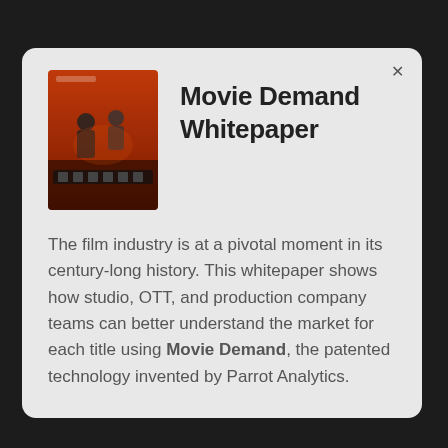[Figure (illustration): Book cover thumbnail for the Movie Demand Whitepaper, showing an illustrated scene with figures and film imagery on an orange/red background]
Movie Demand Whitepaper
The film industry is at a pivotal moment in its century-long history. This whitepaper shows how studio, OTT, and production company teams can better understand the market for each title using Movie Demand, the patented technology invented by Parrot Analytics.